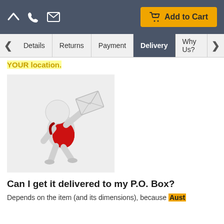Add to Cart
Details | Returns | Payment | Delivery | Why Us?
YOUR location.
[Figure (illustration): 3D rendered mailman figure with white round head, red bag, holding an envelope aloft, running pose]
Can I get it delivered to my P.O. Box?
Depends on the item (and its dimensions), because Aust